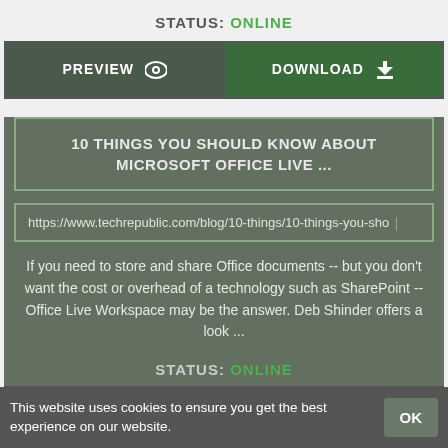STATUS: ONLINE
[Figure (screenshot): PREVIEW and DOWNLOAD button row]
10 THINGS YOU SHOULD KNOW ABOUT MICROSOFT OFFICE LIVE ...
https://www.techrepublic.com/blog/10-things/10-things-you-sho...
If you need to store and share Office documents -- but you don't want the cost or overhead of a technology such as SharePoint -- Office Live Workspace may be the answer. Deb Shinder offers a look ...
STATUS: ONLINE
[Figure (screenshot): PREVIEW and DOWNLOAD button row (second card)]
This website uses cookies to ensure you get the best experience on our website.